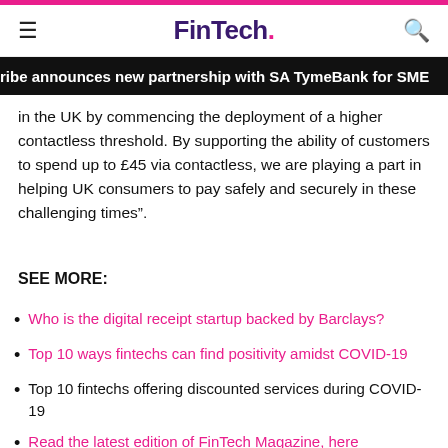FinTech.
ribe announces new partnership with SA TymeBank for SME
in the UK by commencing the deployment of a higher contactless threshold. By supporting the ability of customers to spend up to £45 via contactless, we are playing a part in helping UK consumers to pay safely and securely in these challenging times".
SEE MORE:
Who is the digital receipt startup backed by Barclays?
Top 10 ways fintechs can find positivity amidst COVID-19
Top 10 fintechs offering discounted services during COVID-19
Read the latest edition of FinTech Magazine, here